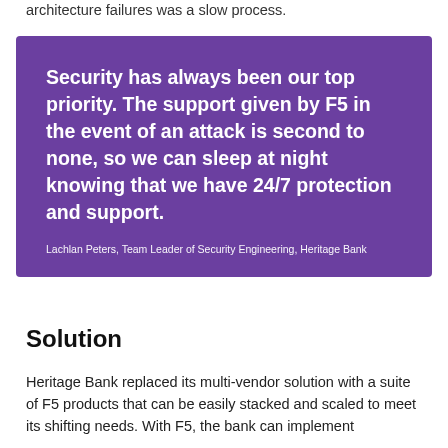architecture failures was a slow process.
Security has always been our top priority. The support given by F5 in the event of an attack is second to none, so we can sleep at night knowing that we have 24/7 protection and support.

Lachlan Peters, Team Leader of Security Engineering, Heritage Bank
Solution
Heritage Bank replaced its multi-vendor solution with a suite of F5 products that can be easily stacked and scaled to meet its shifting needs. With F5, the bank can implement